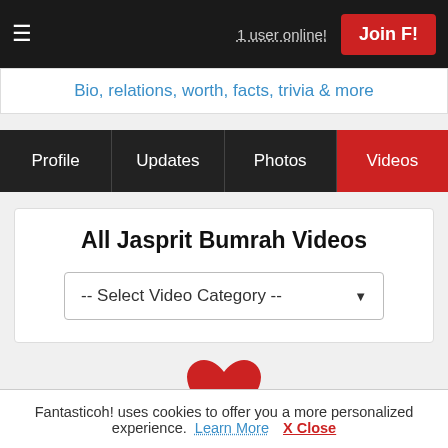1 user online!  Join F!
Bio, relations, worth, facts, trivia & more
Profile  Updates  Photos  Videos
All Jasprit Bumrah Videos
-- Select Video Category --
[Figure (illustration): Red heart icon]
Done!❤ Want more? Share your ideas!
Fantasticoh! uses cookies to offer you a more personalized experience. Learn More  X Close